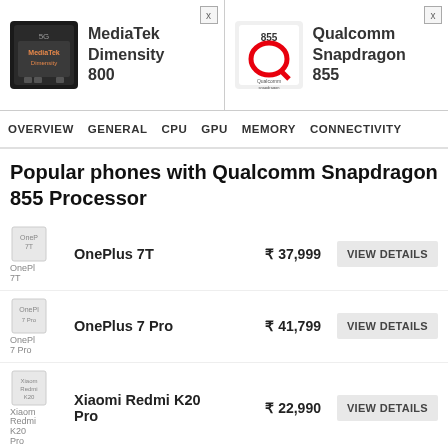[Figure (logo): MediaTek Dimensity 800 chip logo]
MediaTek Dimensity 800
[Figure (logo): Qualcomm Snapdragon 855 chip logo]
Qualcomm Snapdragon 855
OVERVIEW   GENERAL   CPU   GPU   MEMORY   CONNECTIVITY
Popular phones with Qualcomm Snapdragon 855 Processor
OnePlus 7T   ₹ 37,999   VIEW DETAILS
OnePlus 7 Pro   ₹ 41,799   VIEW DETAILS
Xiaomi Redmi K20 Pro   ₹ 22,990   VIEW DETAILS
Xiaomi Mi Mix Alpha   ₹ 1,99,990   VIEW DETAILS